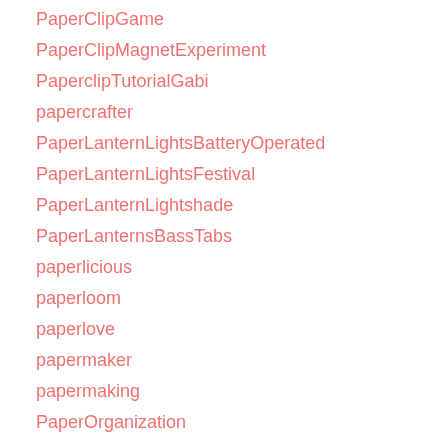PaperClipGame
PaperClipMagnetExperiment
PaperclipTutorialGabi
papercrafter
PaperLanternLightsBatteryOperated
PaperLanternLightsFestival
PaperLanternLightshade
PaperLanternsBassTabs
paperlicious
paperloom
paperlove
papermaker
papermaking
PaperOrganization